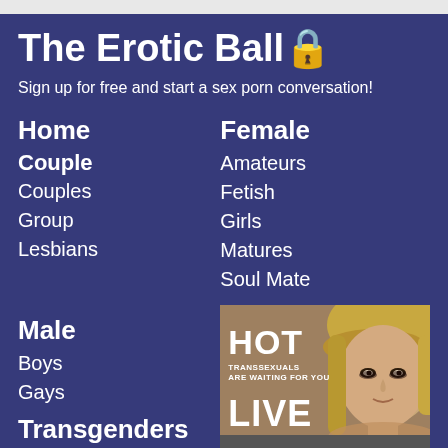The Erotic Ball🔒
Sign up for free and start a sex porn conversation!
Home
Couple
Couples
Group
Lesbians
Female
Amateurs
Fetish
Girls
Matures
Soul Mate
Male
Boys
Gays
Transgenders
[Figure (photo): Advertisement banner with text HOT TRANSSEXUALS ARE WAITING FOR YOU LIVE, featuring a blonde woman]